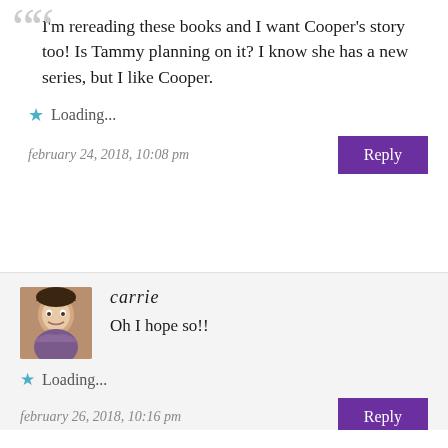I'm rereading these books and I want Cooper's story too! Is Tammy planning on it? I know she has a new series, but I like Cooper.
Loading...
february 24, 2018, 10:08 pm
carrie
Oh I hope so!!
Loading...
february 26, 2018, 10:16 pm